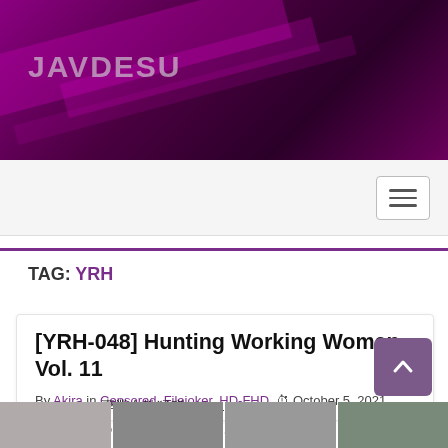JAVDESU
TAG: YRH
[YRH-048] Hunting Working Women Vol. 11
By Akira in Censored, Filejoker, HD-FHD  October 5, 2021
[YRH-048] 働くお姉さんを狩れ vol.11
Hunting Working Women vol. 11
[Figure (photo): Thumbnail images strip at bottom of page]